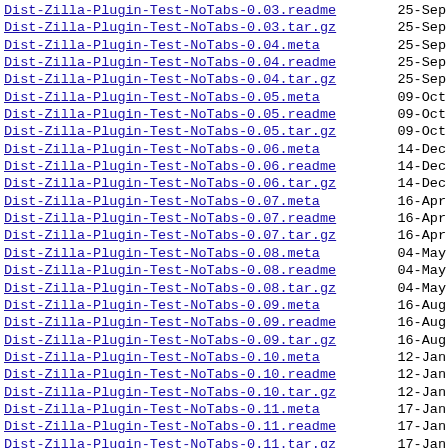Dist-Zilla-Plugin-Test-NoTabs-0.03.readme  25-Sep
Dist-Zilla-Plugin-Test-NoTabs-0.03.tar.gz  25-Sep
Dist-Zilla-Plugin-Test-NoTabs-0.04.meta    25-Sep
Dist-Zilla-Plugin-Test-NoTabs-0.04.readme  25-Sep
Dist-Zilla-Plugin-Test-NoTabs-0.04.tar.gz  25-Sep
Dist-Zilla-Plugin-Test-NoTabs-0.05.meta    09-Oct
Dist-Zilla-Plugin-Test-NoTabs-0.05.readme  09-Oct
Dist-Zilla-Plugin-Test-NoTabs-0.05.tar.gz  09-Oct
Dist-Zilla-Plugin-Test-NoTabs-0.06.meta    14-Dec
Dist-Zilla-Plugin-Test-NoTabs-0.06.readme  14-Dec
Dist-Zilla-Plugin-Test-NoTabs-0.06.tar.gz  14-Dec
Dist-Zilla-Plugin-Test-NoTabs-0.07.meta    16-Apr
Dist-Zilla-Plugin-Test-NoTabs-0.07.readme  16-Apr
Dist-Zilla-Plugin-Test-NoTabs-0.07.tar.gz  16-Apr
Dist-Zilla-Plugin-Test-NoTabs-0.08.meta    04-May
Dist-Zilla-Plugin-Test-NoTabs-0.08.readme  04-May
Dist-Zilla-Plugin-Test-NoTabs-0.08.tar.gz  04-May
Dist-Zilla-Plugin-Test-NoTabs-0.09.meta    16-Aug
Dist-Zilla-Plugin-Test-NoTabs-0.09.readme  16-Aug
Dist-Zilla-Plugin-Test-NoTabs-0.09.tar.gz  16-Aug
Dist-Zilla-Plugin-Test-NoTabs-0.10.meta    12-Jan
Dist-Zilla-Plugin-Test-NoTabs-0.10.readme  12-Jan
Dist-Zilla-Plugin-Test-NoTabs-0.10.tar.gz  12-Jan
Dist-Zilla-Plugin-Test-NoTabs-0.11.meta    17-Jan
Dist-Zilla-Plugin-Test-NoTabs-0.11.readme  17-Jan
Dist-Zilla-Plugin-Test-NoTabs-0.11.tar.gz  17-Jan
Dist-Zilla-Plugin-Test-NoTabs-0.12.meta    19-Jan
Dist-Zilla-Plugin-Test-NoTabs-0.12.readme  19-Jan
Dist-Zilla-Plugin-Test-NoTabs-0.12.tar.gz  19-Jan
Dist-Zilla-Plugin-Test-NoTabs-0.13.meta    20-Jan